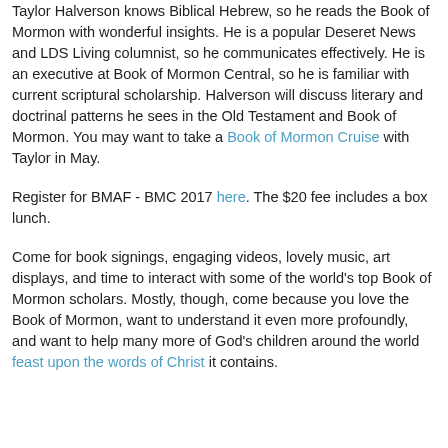our annual conferences going forward.
Taylor Halverson knows Biblical Hebrew, so he reads the Book of Mormon with wonderful insights. He is a popular Deseret News and LDS Living columnist, so he communicates effectively. He is an executive at Book of Mormon Central, so he is familiar with current scriptural scholarship. Halverson will discuss literary and doctrinal patterns he sees in the Old Testament and Book of Mormon. You may want to take a Book of Mormon Cruise with Taylor in May.
Register for BMAF - BMC 2017 here. The $20 fee includes a box lunch.
Come for book signings, engaging videos, lovely music, art displays, and time to interact with some of the world's top Book of Mormon scholars. Mostly, though, come because you love the Book of Mormon, want to understand it even more profoundly, and want to help many more of God's children around the world feast upon the words of Christ it contains.